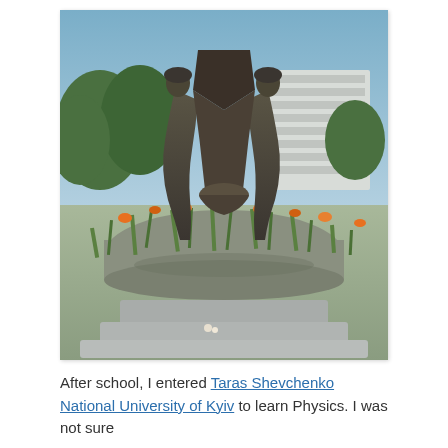[Figure (photo): Outdoor photograph of a bronze monument/statue depicting robed figures around a central object, set on a large stone base surrounded by green vegetation and orange flowers. A multi-story building and blue sky are visible in the background.]
After school, I entered Taras Shevchenko National University of Kyiv to learn Physics. I was not sure